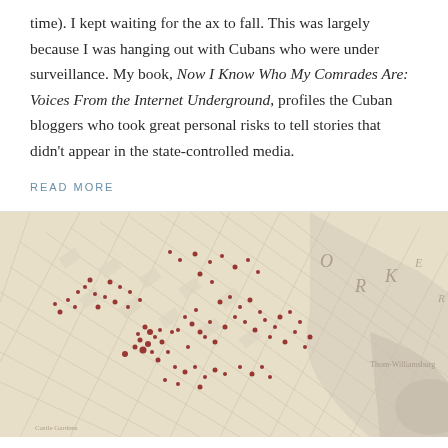time). I kept waiting for the ax to fall. This was largely because I was hanging out with Cubans who were under surveillance. My book, Now I Know Who My Comrades Are: Voices From the Internet Underground, profiles the Cuban bloggers who took great personal risks to tell stories that didn't appear in the state-controlled media.
READ MORE
[Figure (map): Antique-style map of lower Manhattan/New York area with red dots scattered across the street grid, indicating data points. Surrounding water and neighboring areas visible. Text visible includes 'O', 'R', 'K', 'Thom-Williamsburg', 'Castle Gardens'.]